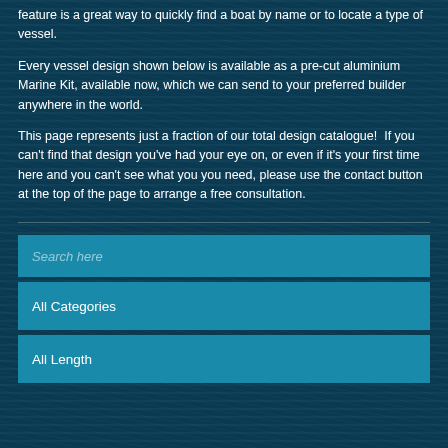feature is a great way to quickly find a boat by name or to locate a type of vessel.
Every vessel design shown below is available as a pre-cut aluminium Marine Kit, available now, which we can send to your preferred builder anywhere in the world.
This page represents just a fraction of our total design catalogue!  If you can't find that design you've had your eye on, or even if it's your first time here and you can't see what you you need, please use the contact button at the top of the page to arrange a free consultation.
Search here
All Categories
All Length